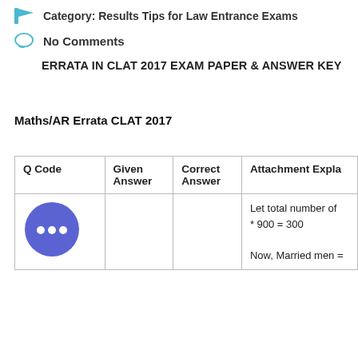Category: Results Tips for Law Entrance Exams
No Comments
ERRATA IN CLAT 2017 EXAM PAPER & ANSWER KEY
Maths/AR Errata CLAT 2017
| Q Code | Given Answer | Correct Answer | Attachment  Explanation |
| --- | --- | --- | --- |
| [chat icon] |  |  | Let total number of * 900 = 300

Now, Married men = |